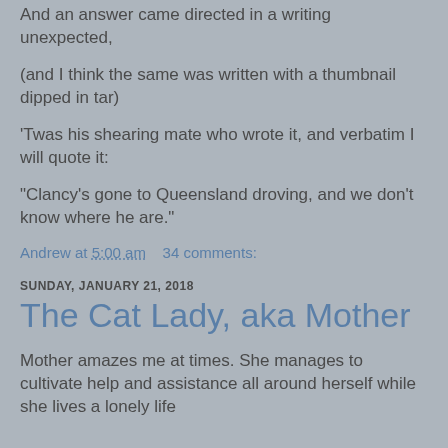And an answer came directed in a writing unexpected,
(and I think the same was written with a thumbnail dipped in tar)
'Twas his shearing mate who wrote it, and verbatim I will quote it:
"Clancy's gone to Queensland droving, and we don't know where he are."
Andrew at 5:00 am    34 comments:
SUNDAY, JANUARY 21, 2018
The Cat Lady, aka Mother
Mother amazes me at times. She manages to cultivate help and assistance all around herself while she lives a lonely life